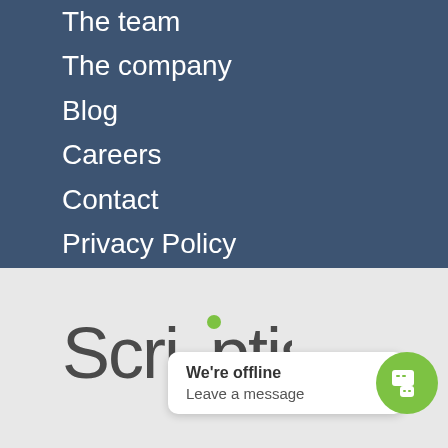The team
The company
Blog
Careers
Contact
Privacy Policy
[Figure (logo): Scriptis logo with green dot accent, partially visible]
We're offline
Leave a message